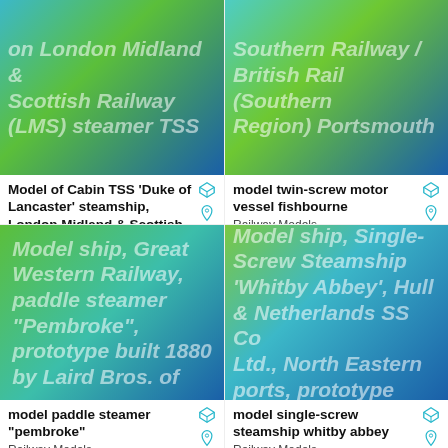[Figure (illustration): Blue-green gradient thumbnail image with overlaid text: 'on London Midland & Scottish Railway (LMS) steamer TSS']
Model of Cabin TSS 'Duke of Lancaster' steamship, London Midland & Scottish Railway
Railway Models
[Figure (illustration): Blue-green gradient thumbnail image with overlaid text: 'Southern Railway / British Rail (Southern Region) Portsmouth']
model twin-screw motor vessel fishbourne
Railway Models
1927
[Figure (illustration): Green-blue gradient thumbnail image with overlaid text: 'Model ship, Great Western Railway, paddle steamer "Pembroke", prototype built 1880 by Laird Bros. of']
model paddle steamer "pembroke"
Railway Models
1880-1896
[Figure (illustration): Green-blue gradient thumbnail image with overlaid text: 'Model ship, Single-Screw Steamship "Whitby Abbey", Hull & Netherlands SS Co Ltd., North Eastern ports, prototype']
model single-screw steamship whitby abbey
Railway Models
1907